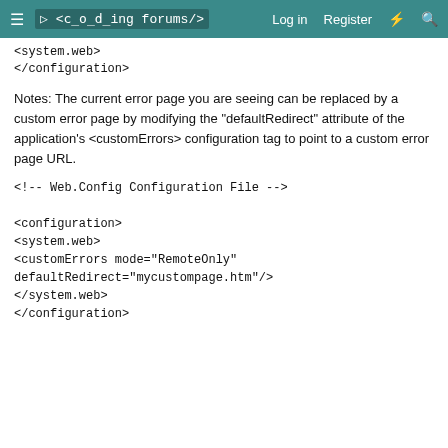≡  <coding forums/>   Log in   Register   ⚡   🔍
<system.web>
</configuration>
Notes: The current error page you are seeing can be replaced by a custom error page by modifying the "defaultRedirect" attribute of the application's <customErrors> configuration tag to point to a custom error page URL.
<!-- Web.Config Configuration File -->

<configuration>
<system.web>
<customErrors mode="RemoteOnly" defaultRedirect="mycustompage.htm"/>
</system.web>
</configuration>